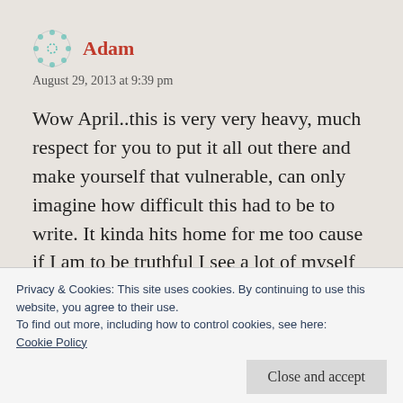Adam
August 29, 2013 at 9:39 pm
Wow April..this is very very heavy, much respect for you to put it all out there and make yourself that vulnerable, can only imagine how difficult this had to be to write. It kinda hits home for me too cause if I am to be truthful I see a lot of myself in it.........I too have a lack of a filter.....a short fuse a lot, can be very brutally
Privacy & Cookies: This site uses cookies. By continuing to use this website, you agree to their use.
To find out more, including how to control cookies, see here: Cookie Policy
Close and accept